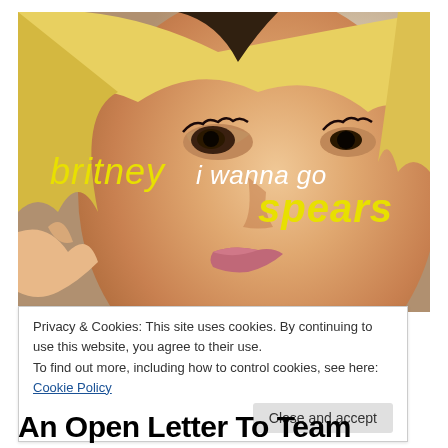[Figure (photo): Album cover photo for Britney Spears 'I Wanna Go' single. Close-up of a blonde woman's face with text overlay reading 'britney i wanna go spears' in yellow and white stylized lettering.]
Privacy & Cookies: This site uses cookies. By continuing to use this website, you agree to their use.
To find out more, including how to control cookies, see here: Cookie Policy
Close and accept
An Open Letter To Team